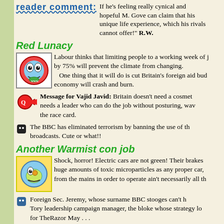[Figure (illustration): Reader comment logo/header in blue bold italic underlined text]
If he's feeling really cynical and hopeful M. Gove can claim that his unique life experience, which his rivals cannot offer!" R.W.
Red Lunacy
[Figure (illustration): Colourful cartoon face icon]
Labour thinks that limiting people to a working week of j... by 75% will prevent the climate from changing. One thing that it will do is cut Britain's foreign aid bud... economy will crash and burn.
[Figure (illustration): Red arrow icon pointing right]
Message for Vajid Javid: Britain doesn't need a cosmet... needs a leader who can do the job without posturing, wav... the race card.
The BBC has eliminated terrorism by banning the use of the... broadcasts. Cute or what!!
Another Warmist con job
[Figure (illustration): Colourful cartoon face icon in yellow border]
Shock, horror! Electric cars are not green! Their brakes... huge amounts of toxic microparticles as any proper car,... from the mains in order to operate ain't necessarily all th...
Foreign Sec. Jeremy, whose surname BBC stooges can't ha... Tory leadership campaign manager, the bloke whose strategy lo... for TheRazor May . . .
[Figure (illustration): Reader comment logo/header in blue bold italic underlined text]
"Given the presently prevalent Wa... Hunt be ruled out of the Tory leade... Chinese wife? Even though he pretends she's Japanese." R.W.